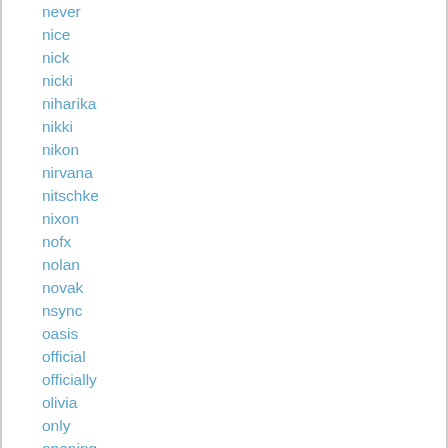never
nice
nick
nicki
niharika
nikki
nikon
nirvana
nitschke
nixon
nofx
nolan
novak
nsync
oasis
official
officially
olivia
only
opening
original
orochimaru
owen
ozzy